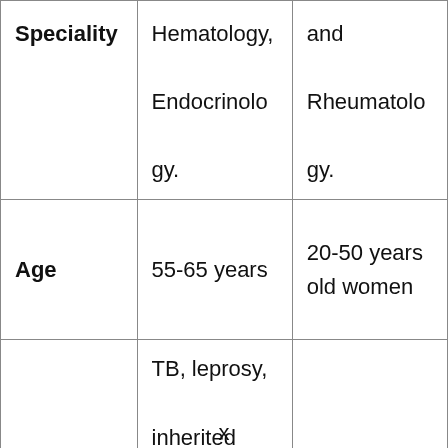|  |  |  |
| --- | --- | --- |
| Speciality | Hematology, Endocrinology. | and Rheumatology. |
| Age | 55-65 years | 20-50 years old women |
| Causes | TB, leprosy, inherited mutations, ulcers, abdominal | Unknown |